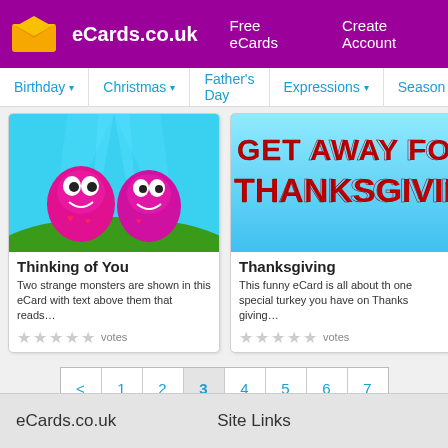eCards.co.uk  Free eCards  Create Account
Birthday  Christmas  Father's Day  Expressions  Season
[Figure (screenshot): Pink monster cartoon eCard image for Thinking of You]
Thinking of You
Two strange monsters are shown in this eCard with text above them that reads…
☆☆☆☆☆ votes
[Figure (screenshot): GET AWAY FOR THANKSGIVING! text on blue background eCard image]
Thanksgiving
This funny eCard is all about th one special turkey you have on Thanks giving…
☆☆☆☆☆ votes
< 1 2 3 4 5 6 7
eCards.co.uk    Site Links